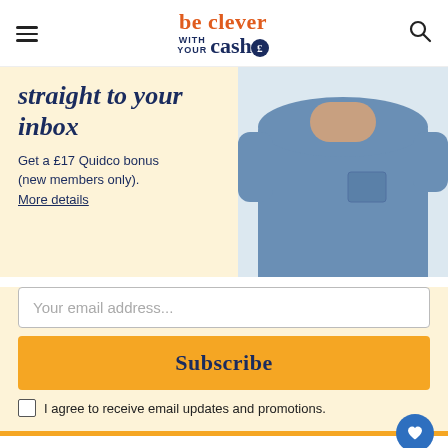be clever with your cash
straight to your inbox
Get a £17 Quidco bonus (new members only). More details
Your email address...
Subscribe
I agree to receive email updates and promotions.
How to ask me questions